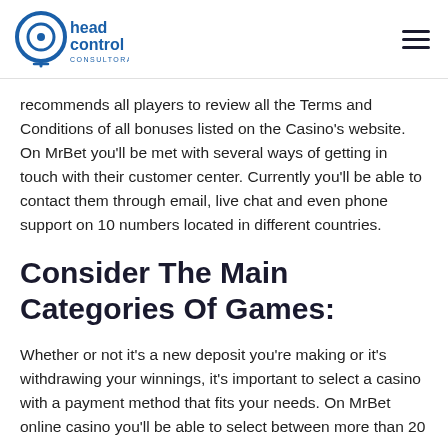head control consultora [logo] [hamburger menu]
recommends all players to review all the Terms and Conditions of all bonuses listed on the Casino's website. On MrBet you'll be met with several ways of getting in touch with their customer center. Currently you'll be able to contact them through email, live chat and even phone support on 10 numbers located in different countries.
Consider The Main Categories Of Games:
Whether or not it's a new deposit you're making or it's withdrawing your winnings, it's important to select a casino with a payment method that fits your needs. On MrBet online casino you'll be able to select between more than 20